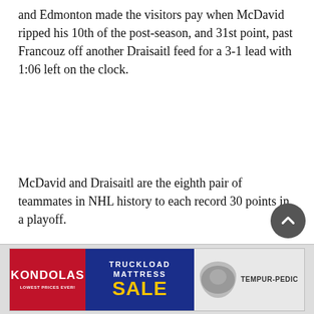and Edmonton made the visitors pay when McDavid ripped his 10th of the post-season, and 31st point, past Francouz off another Draisaitl feed for a 3-1 lead with 1:06 left on the clock.
McDavid and Draisaitl are the eighth pair of teammates in NHL history to each record 30 points in a playoff.
Colorado got one back 31 seconds into the third when Toews’ shot hit Oilers defenceman Cody Ceci in front as he was battling with MacKinnon for the defenceman’s fifth.
But Hyman scored his second of the night and 11th overall on a 4-on-2 rush where his knuckling effort from a Draisaitl setup fooled Francouz at 2:55 for a 4-2 lead.
[Figure (infographic): Kondolas advertisement for Truckload Mattress Sale with Tempur-Pedic branding. Red left panel with KONDOLAS logo and LOWEST PRICES EVER tagline, blue center panel with TRUCKLOAD MATTRESS SALE text, right panel with sleeping figure image and TEMPUR-PEDIC branding.]